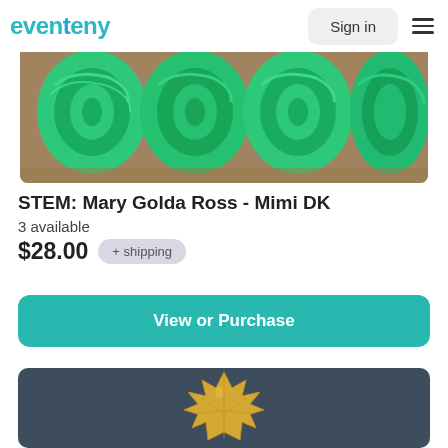eventeny  Sign in
[Figure (photo): Multiple skeins of green/teal yarn arranged on a wooden surface]
STEM: Mary Golda Ross - Mimi DK
3 available
$28.00  + shipping
View or Purchase
[Figure (photo): Yellow maple leaf shaped cookie or ceramic piece on dark blue background]